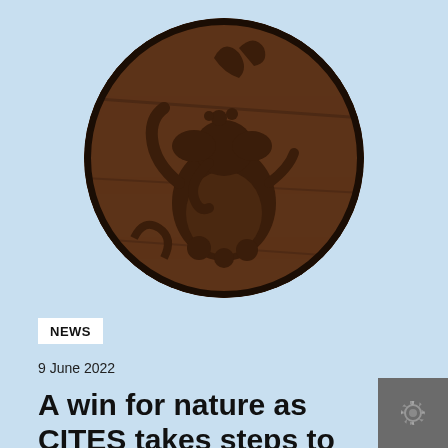[Figure (photo): Circular cropped photo of a dark brown carved wooden sculpture featuring a rotund figurine (resembling Ganesha or similar deity) with intricate carvings, set against a wooden background.]
NEWS
9 June 2022
A win for nature as CITES takes steps to shut down